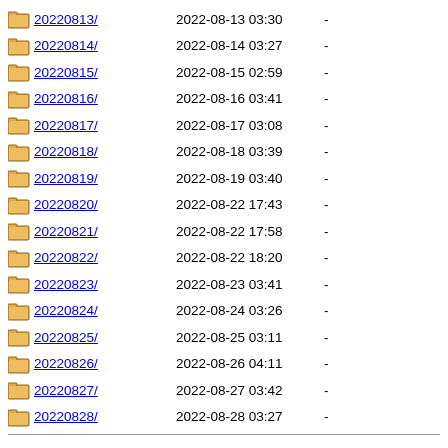20220813/ 2022-08-13 03:30 -
20220814/ 2022-08-14 03:27 -
20220815/ 2022-08-15 02:59 -
20220816/ 2022-08-16 03:41 -
20220817/ 2022-08-17 03:08 -
20220818/ 2022-08-18 03:39 -
20220819/ 2022-08-19 03:40 -
20220820/ 2022-08-22 17:43 -
20220821/ 2022-08-22 17:58 -
20220822/ 2022-08-22 18:20 -
20220823/ 2022-08-23 03:41 -
20220824/ 2022-08-24 03:26 -
20220825/ 2022-08-25 03:11 -
20220826/ 2022-08-26 04:11 -
20220827/ 2022-08-27 03:42 -
20220828/ 2022-08-28 03:27 -